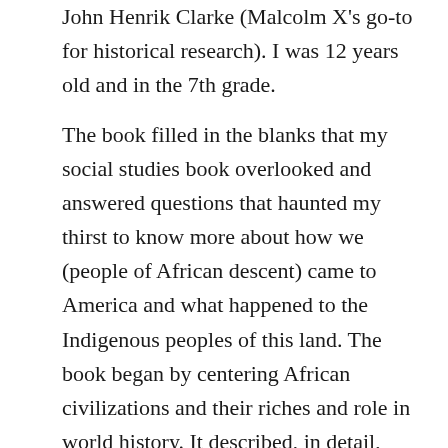John Henrik Clarke (Malcolm X's go-to for historical research). I was 12 years old and in the 7th grade.
The book filled in the blanks that my social studies book overlooked and answered questions that haunted my thirst to know more about how we (people of African descent) came to America and what happened to the Indigenous peoples of this land. The book began by centering African civilizations and their riches and role in world history. It described, in detail, how the African Moors were edged out of Europe in 1492, the same year of Columbus's mission to find India. The book went as far as to describe Columbus as “lost!”  As a middle schooler, I  encountered a truth and was incensed by my belief in the myths I had been taught.  This caused me to question everything I had learned and was continuing to learn even until